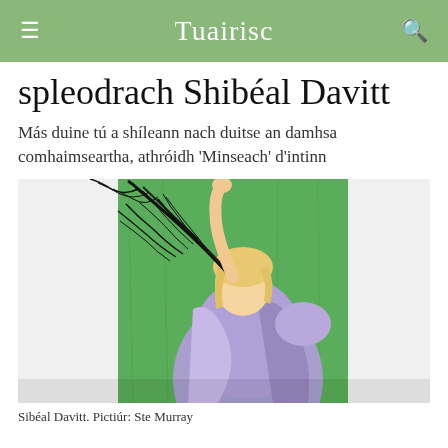Tuairisc
spleodrach Shibéal Davitt
Más duine tú a shíleann nach duitse an damhsa comhaimseartha, athróidh 'Minseach' d'intinn
[Figure (photo): Sibéal Davitt posing in a purple/lavender metallic outfit holding black feathery/sheer fabric aloft against a green backdrop]
Sibéal Davitt. Pictiúr: Ste Murray